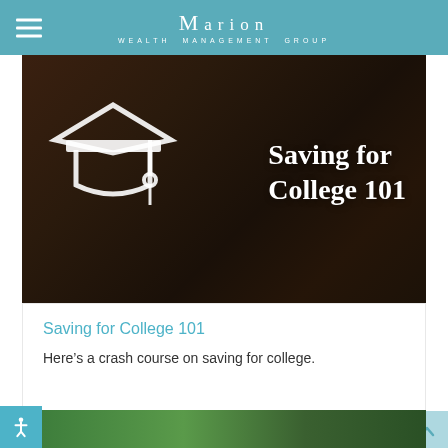MARION WEALTH MANAGEMENT GROUP
[Figure (illustration): Hero banner image showing a student studying in dark surroundings, overlaid with a white graduation cap icon and white text reading 'Saving for College 101']
Saving for College 101
Here's a crash course on saving for college.
[Figure (photo): Bottom strip showing a partial photo of a green outdoor scene, partially cropped]